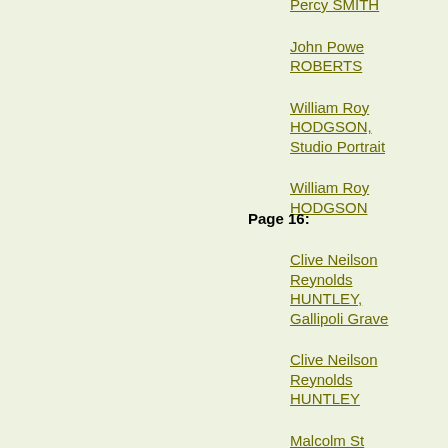Percy SMITH
John Powe ROBERTS
William Roy HODGSON, Studio Portrait
William Roy HODGSON
Page 16:
Clive Neilson Reynolds HUNTLEY, Gallipoli Grave
Clive Neilson Reynolds HUNTLEY
Malcolm St John LAMB
James Campbell STEWART